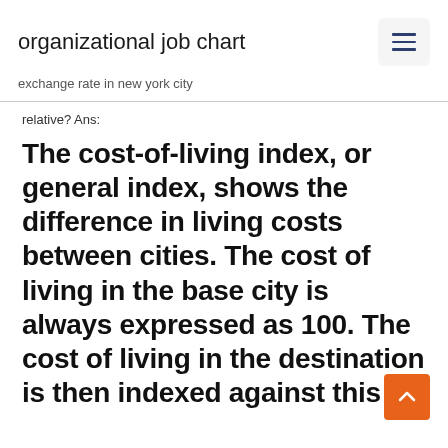organizational job chart
exchange rate in new york city
relative? Ans:
The cost-of-living index, or general index, shows the difference in living costs between cities. The cost of living in the base city is always expressed as 100. The cost of living in the destination is then indexed against this